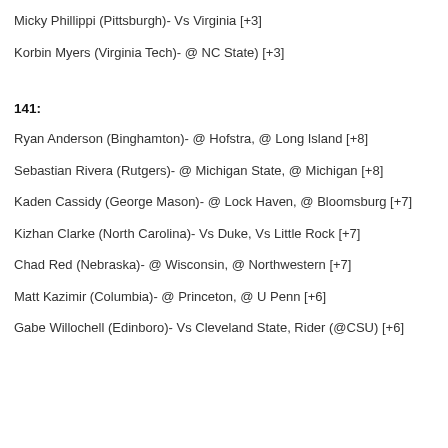Micky Phillippi (Pittsburgh)- Vs Virginia [+3]
Korbin Myers (Virginia Tech)- @ NC State) [+3]
141:
Ryan Anderson (Binghamton)- @ Hofstra, @ Long Island [+8]
Sebastian Rivera (Rutgers)- @ Michigan State, @ Michigan [+8]
Kaden Cassidy (George Mason)- @ Lock Haven, @ Bloomsburg [+7]
Kizhan Clarke (North Carolina)- Vs Duke, Vs Little Rock [+7]
Chad Red (Nebraska)- @ Wisconsin, @ Northwestern [+7]
Matt Kazimir (Columbia)- @ Princeton, @ U Penn [+6]
Gabe Willochell (Edinboro)- Vs Cleveland State, Rider (@CSU) [+6]